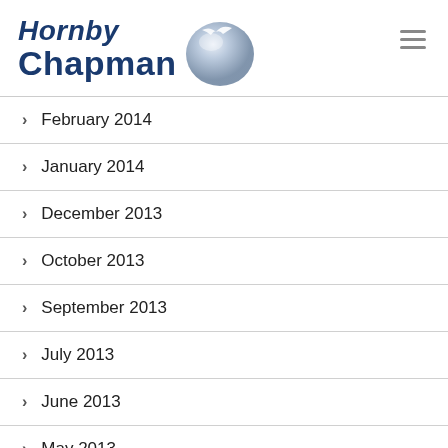[Figure (logo): Hornby Chapman logo with globe graphic — bold dark blue text 'Hornby Chapman' with a grey-blue globe/bird icon to the right]
February 2014
January 2014
December 2013
October 2013
September 2013
July 2013
June 2013
May 2013